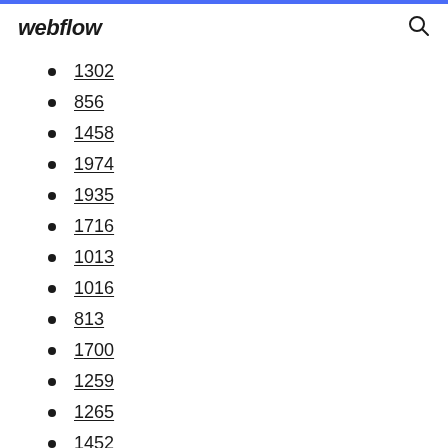webflow
1302
856
1458
1974
1935
1716
1013
1016
813
1700
1259
1265
1452